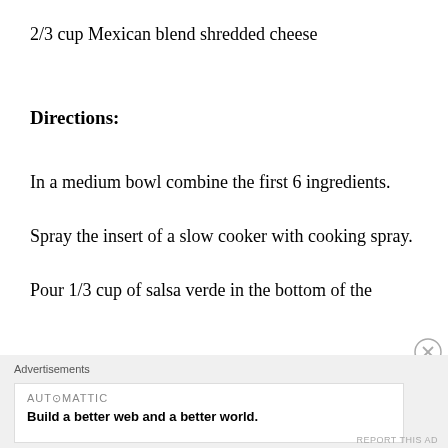2/3 cup Mexican blend shredded cheese
Directions:
In a medium bowl combine the first 6 ingredients.
Spray the insert of a slow cooker with cooking spray.
Pour 1/3 cup of salsa verde in the bottom of the
Advertisements
AUTOMATTIC
Build a better web and a better world.